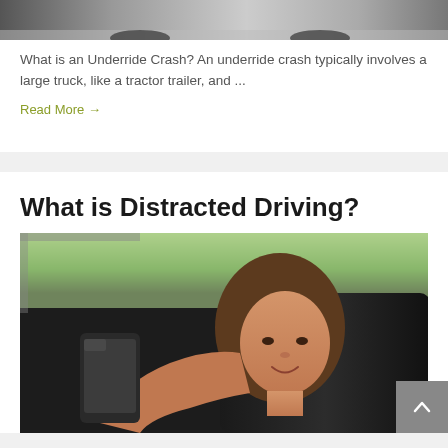[Figure (photo): Top portion of a car photo, showing the lower part of a vehicle]
What is an Underride Crash? An underride crash typically involves a large truck, like a tractor trailer, and ...
Read More →
What is Distracted Driving?
[Figure (photo): Young woman sitting in a car holding a smartphone up toward the camera, smiling]